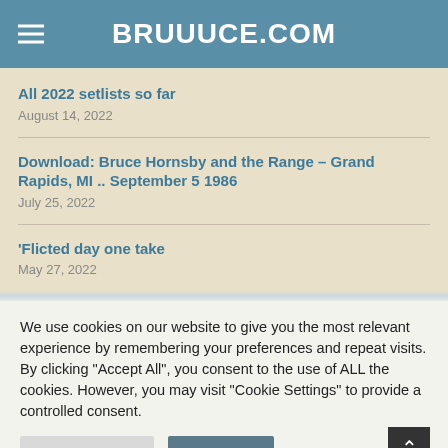BRUUUCE.COM
All 2022 setlists so far
August 14, 2022
Download: Bruce Hornsby and the Range – Grand Rapids, MI .. September 5 1986
July 25, 2022
'Flicted day one take
May 27, 2022
We use cookies on our website to give you the most relevant experience by remembering your preferences and repeat visits. By clicking "Accept All", you consent to the use of ALL the cookies. However, you may visit "Cookie Settings" to provide a controlled consent.